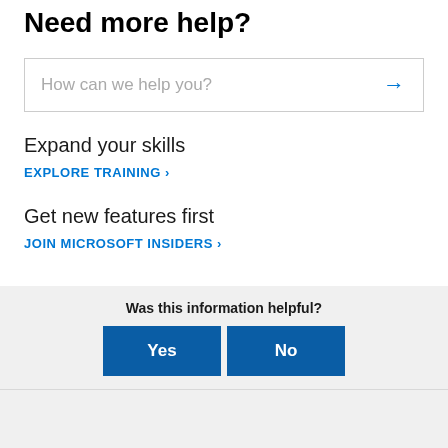Need more help?
How can we help you?
Expand your skills
EXPLORE TRAINING >
Get new features first
JOIN MICROSOFT INSIDERS >
Was this information helpful?
Yes
No